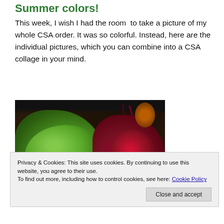Summer colors!
This week, I wish I had the room to take a picture of my whole CSA order. It was so colorful. Instead, here are the individual pictures, which you can combine into a CSA collage in your mind.
[Figure (photo): Photo of fresh greens/lettuce and red beets on a wooden surface with electronics in the background.]
Privacy & Cookies: This site uses cookies. By continuing to use this website, you agree to their use.
To find out more, including how to control cookies, see here: Cookie Policy
[Close and accept button]
Along with aromatics I wanted to show the pots and pans I